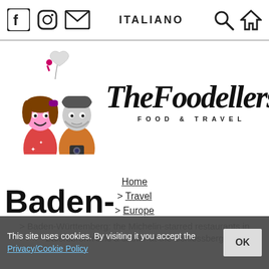ITALIANO
[Figure (logo): TheFoodellers Food & Travel logo with cartoon characters of a man and woman]
Home
> Travel
> Europe
> Baden-Württemberg: the Michelin-starred restaurants in Baiersbronn and a dinner at the Schlossberg
This site uses cookies. By visiting it you accept the Privacy/Cookie Policy  OK